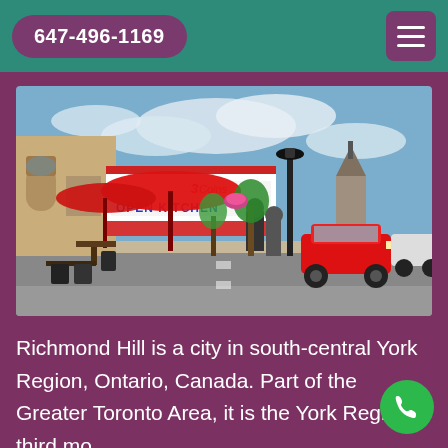647-496-1169
[Figure (photo): Street-level photo of a downtown area with a restaurant called '3 Coins Open Kitchen' with a red umbrella patio outside, a street lamp, parked red car, and a church steeple visible in the background under a partly cloudy sky.]
Richmond Hill is a city in south-central York Region, Ontario, Canada. Part of the Greater Toronto Area, it is the York Region's third mo.